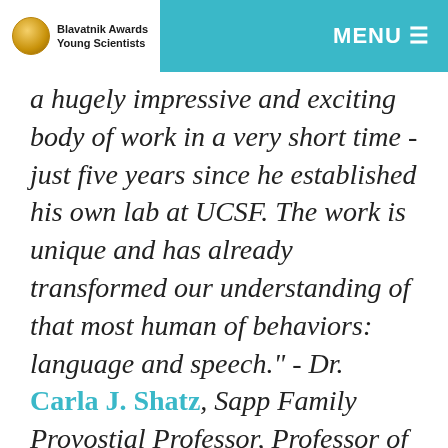Blavatnik Awards Young Scientists | MENU
a hugely impressive and exciting body of work in a very short time - just five years since he established his own lab at UCSF. The work is unique and has already transformed our understanding of that most human of behaviors: language and speech." - Dr. Carla J. Shatz, Sapp Family Provostial Professor, Professor of Biology and Neurobiology